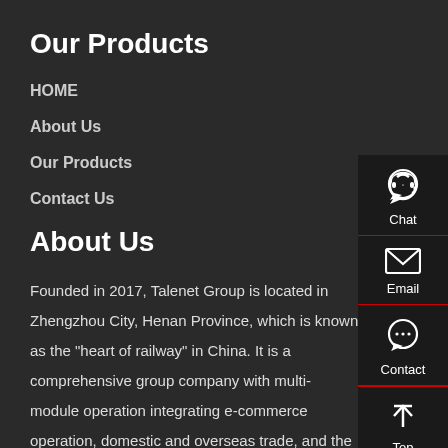Our Products
HOME
About Us
Our Products
Contact Us
About Us
Founded in 2017, Talenet Group is located in Zhengzhou City, Henan Province, which is known as the "heart of railway" in China. It is a comprehensive group company with multi-module operation integrating e-commerce operation, domestic and overseas trade, and the upstream and downstream of product supply chain.
[Figure (infographic): Right sidebar with Chat, Email, Contact, and Top navigation icons on dark background]